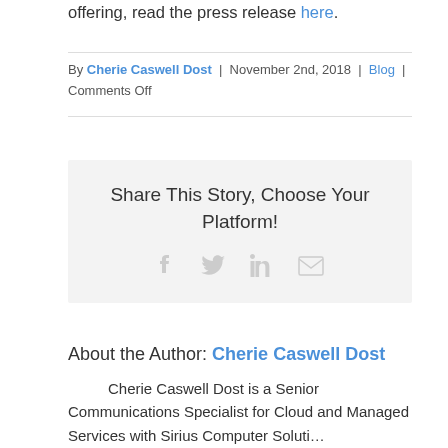offering, read the press release here.
By Cherie Caswell Dost | November 2nd, 2018 | Blog | Comments Off
Share This Story, Choose Your Platform!
About the Author: Cherie Caswell Dost
Cherie Caswell Dost is a Senior Communications Specialist for Cloud and Managed Services with Sirius Computer Soluti…